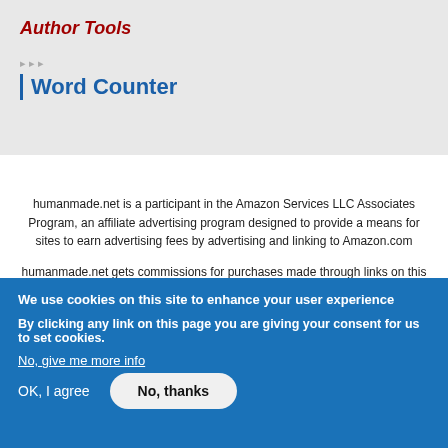Author Tools
Word Counter
humanmade.net is a participant in the Amazon Services LLC Associates Program, an affiliate advertising program designed to provide a means for sites to earn advertising fees by advertising and linking to Amazon.com
humanmade.net gets commissions for purchases made through links on this page.
We use cookies on this site to enhance your user experience
By clicking any link on this page you are giving your consent for us to set cookies.
No, give me more info
OK, I agree
No, thanks